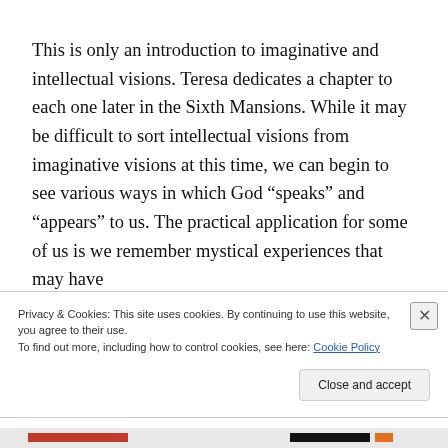This is only an introduction to imaginative and intellectual visions. Teresa dedicates a chapter to each one later in the Sixth Mansions. While it may be difficult to sort intellectual visions from imaginative visions at this time, we can begin to see various ways in which God “speaks” and “appears” to us. The practical application for some of us is we remember mystical experiences that may have
Privacy & Cookies: This site uses cookies. By continuing to use this website, you agree to their use.
To find out more, including how to control cookies, see here: Cookie Policy
Close and accept